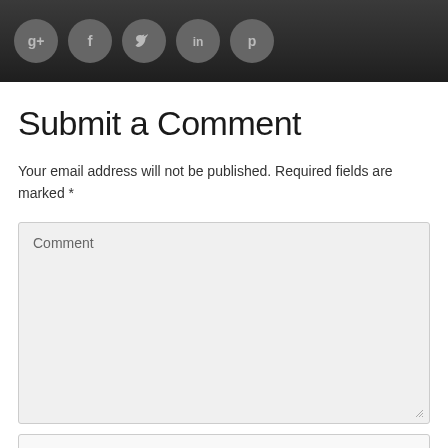[Figure (other): Dark header bar with five social media icon buttons (Google+, Facebook, Twitter, LinkedIn, Pinterest) as circular grey icons]
Submit a Comment
Your email address will not be published. Required fields are marked *
Comment